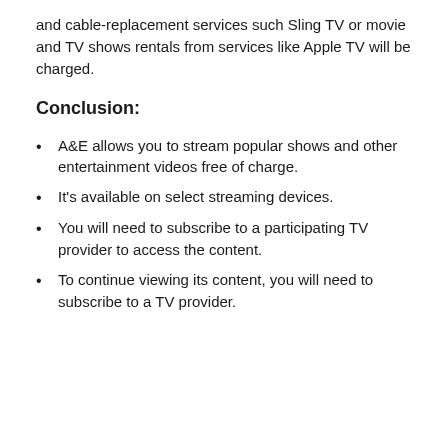and cable-replacement services such Sling TV or movie and TV shows rentals from services like Apple TV will be charged.
Conclusion:
A&E allows you to stream popular shows and other entertainment videos free of charge.
It's available on select streaming devices.
You will need to subscribe to a participating TV provider to access the content.
To continue viewing its content, you will need to subscribe to a TV provider.